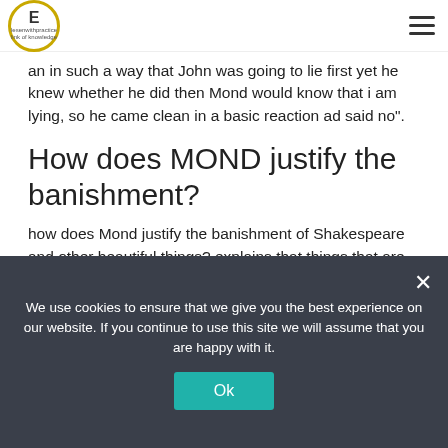lesenwithpractice | link of knowledge
an in such a way that John was going to lie first yet he knew whether he did then Mond would know that i am lying, so he came clean in a basic reaction ad said no".
How does MOND justify the banishment?
how does Mond justify the banishment of Shakespeare and other beautiful things? explains that things that are old (like Shakespeare) are prohibited, especially when they're beautiful (like Shakespeare) because then they might be enticing. If writing were passionate, the people wouldn't understand it.
How does Mustapha Mond say he paid for being too much interested in the truth?
We use cookies to ensure that we give you the best experience on our website. If you continue to use this site we will assume that you are happy with it.